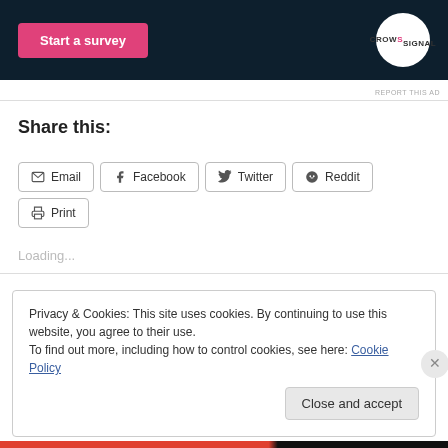[Figure (screenshot): Advertisement banner with dark background showing 'Start a survey' pink button and Crowdsignal logo on white circle]
REPORT THIS AD
Share this:
Email  Facebook  Twitter  Reddit  Print
Loading...
Privacy & Cookies: This site uses cookies. By continuing to use this website, you agree to their use.
To find out more, including how to control cookies, see here: Cookie Policy
Close and accept